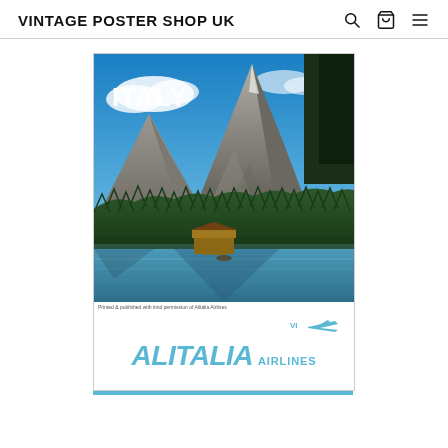VINTAGE POSTER SHOP UK
[Figure (photo): Vintage Alitalia Airlines travel poster for Italy showing a mountain lake scene (Dolomites / Lake Misurina) with rugged rocky peaks, dense pine forests, a small wooden boat house/pier on the lake, and reflections in the water. Text 'ITALY' in white bold at top left. Alitalia Airlines logo and airplane icon at bottom.]